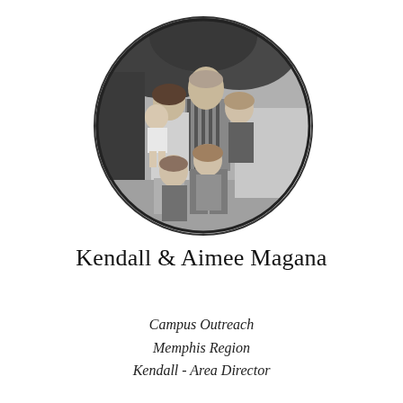[Figure (photo): Black and white circular family portrait photo showing a man, woman, and four children posing together outdoors with trees/foliage in the background.]
Kendall & Aimee Magana
Campus Outreach
Memphis Region
Kendall - Area Director